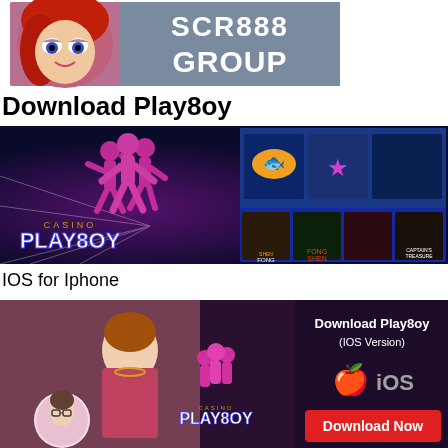[Figure (illustration): SCR888 Group logo banner with animated female character on left and 'SCR888 GROUP' text in white on blue-grey background]
Download Play8oy
[Figure (illustration): Casino Play8oy game banner showing dancing silhouettes on left with neon lighting and slot game cards on right including Fong Shen, Captain's Treasure, and other games]
IOS for Iphone
[Figure (illustration): Download Play8oy IOS Version banner with a woman posing on left, Casino Play8oy logo in center, Apple iOS icon and 'Download Now' button on right]